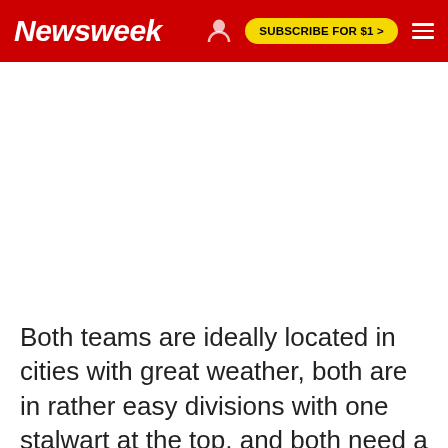Newsweek | SUBSCRIBE FOR $1 >
[Figure (other): Advertisement/blank white space area below Newsweek header]
Both teams are ideally located in cities with great weather, both are in rather easy divisions with one stalwart at the top, and both need a quarterback who can take them to the next